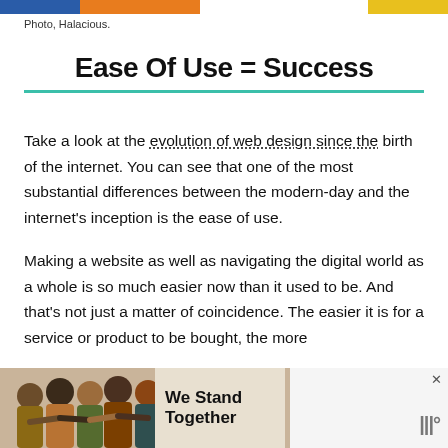[Figure (other): Top color banner strip with blue, orange, white, and gold segments]
Photo, Halacious.
Ease Of Use = Success
Take a look at the evolution of web design since the birth of the internet. You can see that one of the most substantial differences between the modern-day and the internet's inception is the ease of use.
Making a website as well as navigating the digital world as a whole is so much easier now than it used to be. And that's not just a matter of coincidence. The easier it is for a service or product to be bought, the more
[Figure (photo): Advertisement banner showing group of people from behind with arms around each other and text 'We Stand Together']